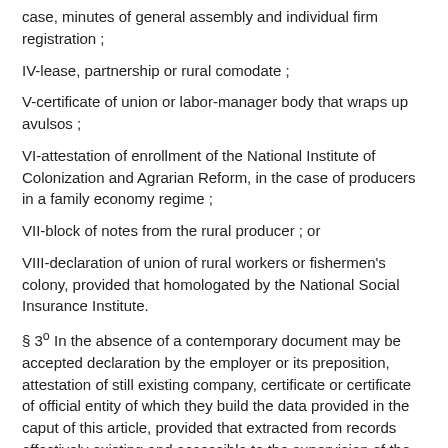case, minutes of general assembly and individual firm registration ;
IV-lease, partnership or rural comodate ;
V-certificate of union or labor-manager body that wraps up avulsos ;
VI-attestation of enrollment of the National Institute of Colonization and Agrarian Reform, in the case of producers in a family economy regime ;
VII-block of notes from the rural producer ; or
VIII-declaration of union of rural workers or fishermen's colony, provided that homologated by the National Social Insurance Institute.
§ 3º In the absence of a contemporary document may be accepted declaration by the employer or its preposition, attestation of still existing company, certificate or certificate of official entity of which they build the data provided in the caput of this article, provided that extracted from records effectively existing and accessible to the supervision of the National Social Insurance Institute.